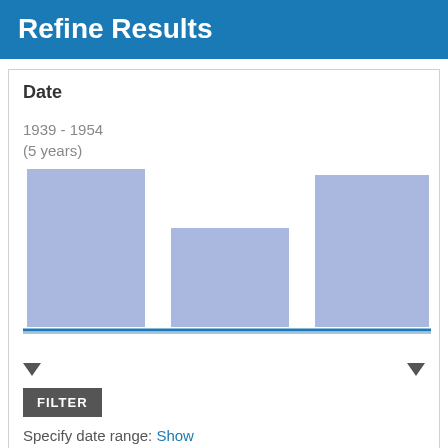Refine Results
Date
1939 - 1954
(5 years)
[Figure (bar-chart): Date histogram]
FILTER
Specify date range: Show
Department